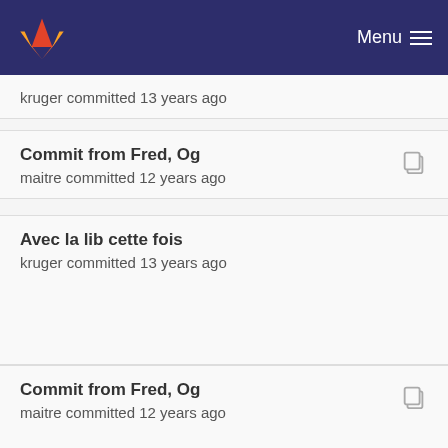Menu
kruger committed 13 years ago
Commit from Fred, Og
maitre committed 12 years ago
Avec la lib cette fois
kruger committed 13 years ago
Commit from Fred, Og
maitre committed 12 years ago
Avec la lib cette fois
kruger committed 13 years ago